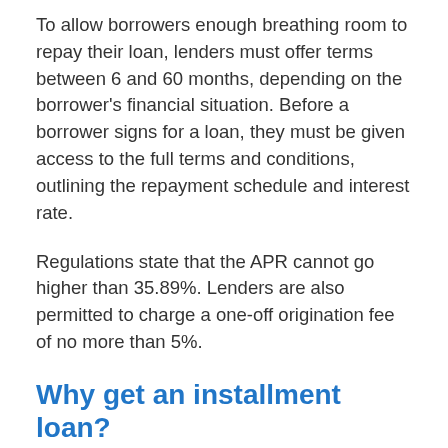To allow borrowers enough breathing room to repay their loan, lenders must offer terms between 6 and 60 months, depending on the borrower's financial situation. Before a borrower signs for a loan, they must be given access to the full terms and conditions, outlining the repayment schedule and interest rate.
Regulations state that the APR cannot go higher than 35.89%. Lenders are also permitted to charge a one-off origination fee of no more than 5%.
Why get an installment loan?
Installment loans are an increasingly popular choice in Olivehurst, CA. They appeal to people